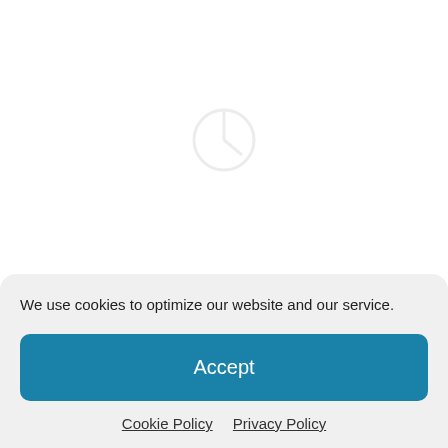[Figure (illustration): Faint watermark or icon in background, partially visible]
New analysis reveals that between the top of
We use cookies to optimize our website and our service.
Accept
Cookie Policy   Privacy Policy